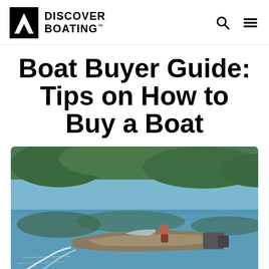Discover Boating
Boat Buyer Guide: Tips on How to Buy a Boat
[Figure (photo): A motorized fishing/sport boat speeding across a calm blue lake with trees in the background, with one person visible on board]